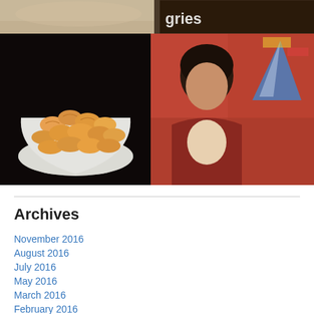[Figure (photo): Partial top strip: left side shows food/dish photo, right side shows dark background with white text partially visible]
[Figure (photo): Bowl of orange/golden dumplings or pierogies in a white scalloped bowl on dark background]
[Figure (photo): Woman with dark hair in red/maroon top holding a baby wearing a party hat, with colorful background]
Archives
November 2016
August 2016
July 2016
May 2016
March 2016
February 2016